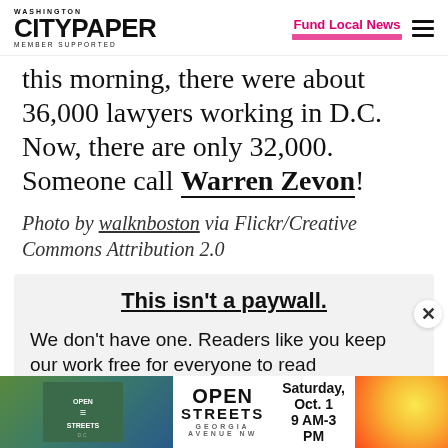Washington City Paper - Member Supported | Fund Local News
this morning, there were about 36,000 lawyers working in D.C. Now, there are only 32,000. Someone call Warren Zevon!
Photo by walknboston via Flickr/Creative Commons Attribution 2.0
This isn't a paywall.
We don't have one. Readers like you keep our work free for everyone to read
[Figure (other): Open Streets DC advertisement banner - Saturday, Oct. 1, 9 AM-3 PM]